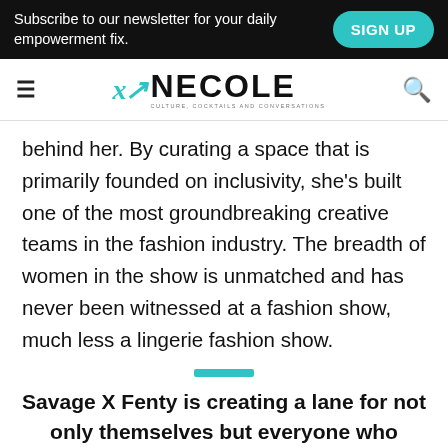Subscribe to our newsletter for your daily empowerment fix.   SIGN UP
xo NECOLE
behind her. By curating a space that is primarily founded on inclusivity, she's built one of the most groundbreaking creative teams in the fashion industry. The breadth of women in the show is unmatched and has never been witnessed at a fashion show, much less a lingerie fashion show.
Savage X Fenty is creating a lane for not only themselves but everyone who doesn't fit that preconceived standard of beauty. The brand is